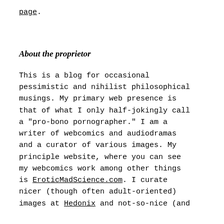page.
About the proprietor
This is a blog for occasional pessimistic and nihilist philosophical musings. My primary web presence is that of what I only half-jokingly call a "pro-bono pornographer." I am a writer of webcomics and audiodramas and a curator of various images. My principle website, where you can see my webcomics work among other things is EroticMadScience.com. I curate nicer (though often adult-oriented) images at Hedonix and not-so-nice (and